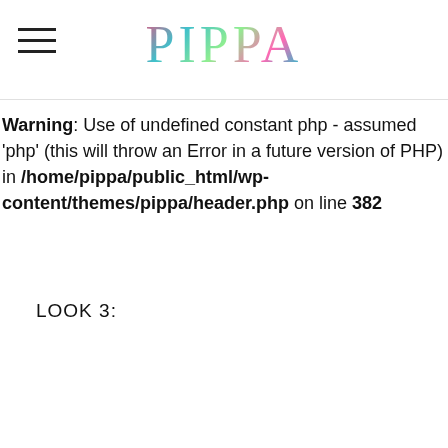PIPPA
Warning: Use of undefined constant php - assumed 'php' (this will throw an Error in a future version of PHP) in /home/pippa/public_html/wp-content/themes/pippa/header.php on line 382
LOOK 3: